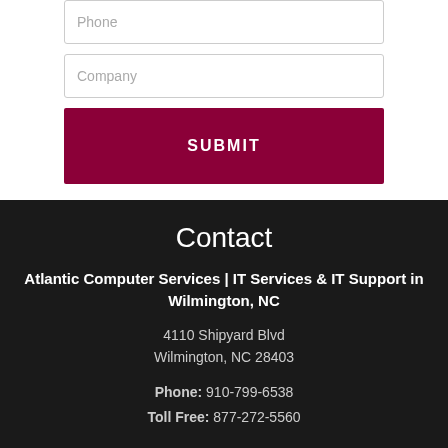[Figure (other): Phone input field with placeholder text 'Phone']
[Figure (other): Company input field with placeholder text 'Company']
[Figure (other): Submit button with text 'SUBMIT']
Contact
Atlantic Computer Services | IT Services & IT Support in Wilmington, NC
4110 Shipyard Blvd
Wilmington, NC 28403
Phone: 910-799-6538
Toll Free: 877-272-5560
Latest Articles